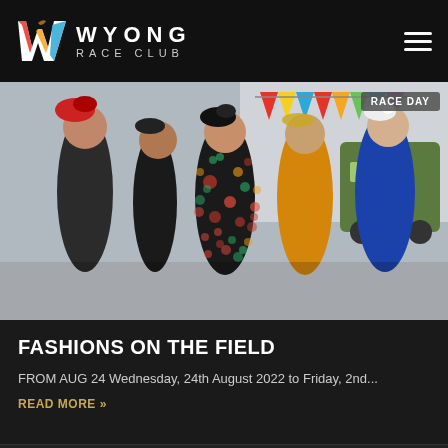WYONG RACE CLUB
[Figure (photo): Five women dressed in elegant race day outfits and fascinators standing together at an outdoor event with colourful bunting in the background. A 'RACE DAY' badge appears in the top right corner of the image.]
FASHIONS ON THE FIELD
FROM AUG 24 Wednesday, 24th August 2022 to Friday, 2nd...
READ MORE »